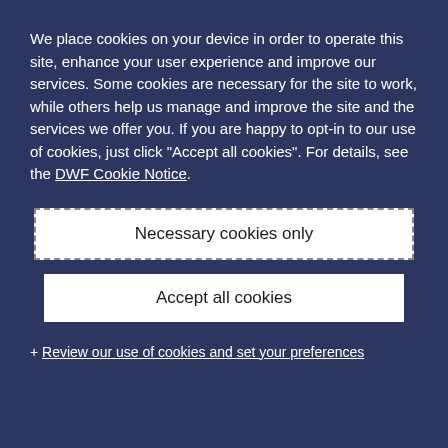We place cookies on your device in order to operate this site, enhance your user experience and improve our services. Some cookies are necessary for the site to work, while others help us manage and improve the site and the services we offer you. If you are happy to opt-in to our use of cookies, just click "Accept all cookies". For details, see the DWF Cookie Notice.
Necessary cookies only
Accept all cookies
+ Review our use of cookies and set your preferences
Related Sectors
Renewables
Government & Public Sector